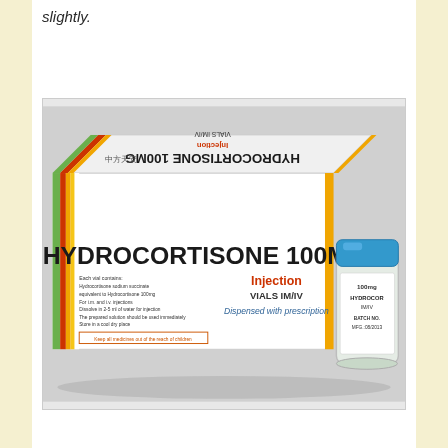slightly.
[Figure (photo): Photo of Hydrocortisone 100MG Injection vials IM/IV product box (white box with green, red, orange and yellow stripes) shown both front and top face, along with a small glass vial with blue cap labeled 100mg HYDROCOR... BATCH NO. MFG:08/2013]